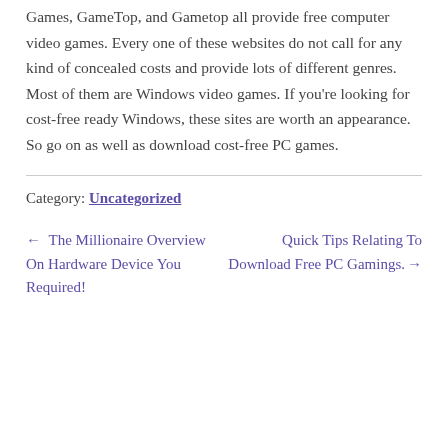Games, GameTop, and Gametop all provide free computer video games. Every one of these websites do not call for any kind of concealed costs and provide lots of different genres. Most of them are Windows video games. If you're looking for cost-free ready Windows, these sites are worth an appearance. So go on as well as download cost-free PC games.
Category: Uncategorized
← The Millionaire Overview On Hardware Device You Required!
Quick Tips Relating To Download Free PC Gamings. →